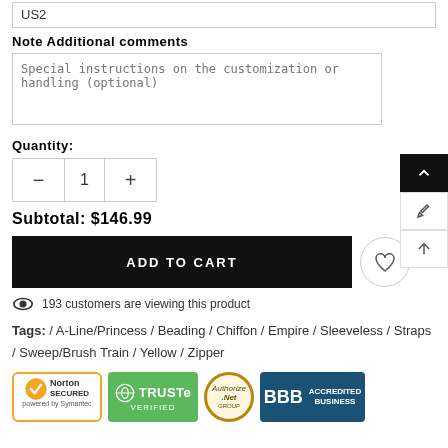US2
Note Additional comments
Special instructions on the customization or handling (optional)
Quantity:
1
Subtotal: $146.99
ADD TO CART
193 customers are viewing this product
Tags: / A-Line/Princess / Beading / Chiffon / Empire / Sleeveless / Straps / Sweep/Brush Train / Yellow / Zipper
[Figure (logo): Norton Secured powered by Symantec trust badge]
[Figure (logo): TRUSTe Verified trust badge]
[Figure (logo): Authorize.Net trust badge]
[Figure (logo): BBB Accredited Business trust badge]